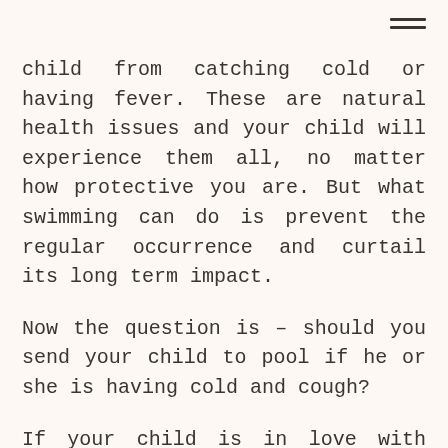child from catching cold or having fever. These are natural health issues and your child will experience them all, no matter how protective you are. But what swimming can do is prevent the regular occurrence and curtail its long term impact.
Now the question is – should you send your child to pool if he or she is having cold and cough?
If your child is in love with water, it may be difficult for you to keep him or her away from swimming pool. But it is important to give a pause, in case the child is having excessive cold